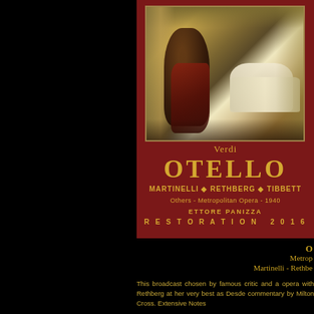[Figure (illustration): Album cover for Verdi Otello. Dark red/maroon background with a classical painting showing a dark figure approaching a reclining white-robed figure in a dimly lit bedroom scene. Golden ornate framing.]
Verdi OTELLO
MARTINELLI ◆ RETHBERG ◆ TIBBETT
Others - Metropolitan Opera - 1940
ETTORE PANIZZA
RESTORATION 2016
Metrop
Martinelli - Rethbe
This broadcast chosen by famous critic and a opera with Rethberg at her very best as Desde commentary by Milton Cross. Extensive Notes